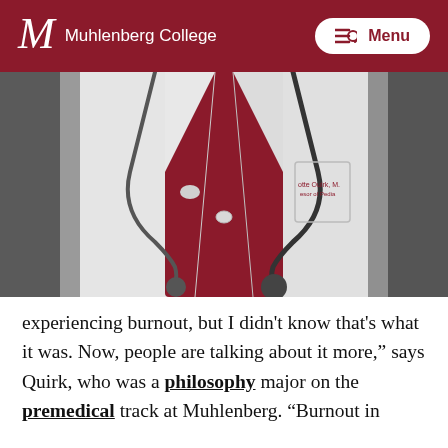Muhlenberg College  Menu
[Figure (photo): Close-up photo of a person wearing a white medical lab coat with a stethoscope around their neck, and a red cable-knit sweater underneath. A name badge is visible on the coat pocket.]
experiencing burnout, but I didn't know that's what it was. Now, people are talking about it more," says Quirk, who was a philosophy major on the premedical track at Muhlenberg. "Burnout in medicine is actually high. But, you can do...